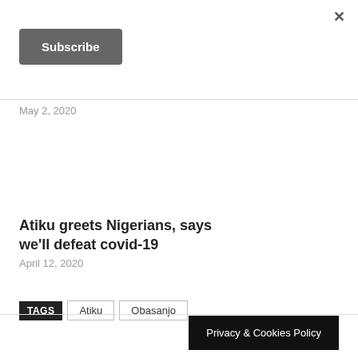×
Subscribe
May 2, 2020
Atiku greets Nigerians, says we'll defeat covid-19
April 12, 2020
TAGS  Atiku  Obasanjo
Privacy & Cookies Policy